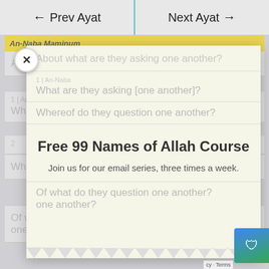← Prev Ayat   Next Ayat →
An-Naba Maminum
About what are they asking one another?
1 | An-Naba
What are they asking [one another]?
2
Whereof do they question one another?
Free 99 Names of Allah Course
Join us for our email series, three times a week.
Of what do they question one another?
one another?